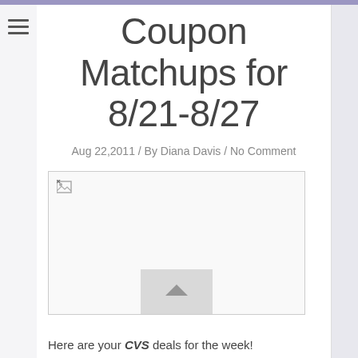Coupon Matchups for 8/21-8/27
Aug 22,2011 / By Diana Davis / No Comment
[Figure (photo): Broken image placeholder for CVS coupon matchups post]
Here are your CVS deals for the week!